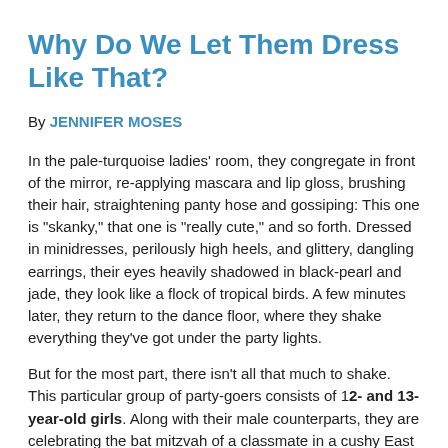Why Do We Let Them Dress Like That?
By JENNIFER MOSES
In the pale-turquoise ladies' room, they congregate in front of the mirror, re-applying mascara and lip gloss, brushing their hair, straightening panty hose and gossiping: This one is "skanky," that one is "really cute," and so forth. Dressed in minidresses, perilously high heels, and glittery, dangling earrings, their eyes heavily shadowed in black-pearl and jade, they look like a flock of tropical birds. A few minutes later, they return to the dance floor, where they shake everything they've got under the party lights.
But for the most part, there isn't all that much to shake. This particular group of party-goers consists of 12- and 13-year-old girls. Along with their male counterparts, they are celebrating the bat mitzvah of a classmate in a cushy East Coast suburb.